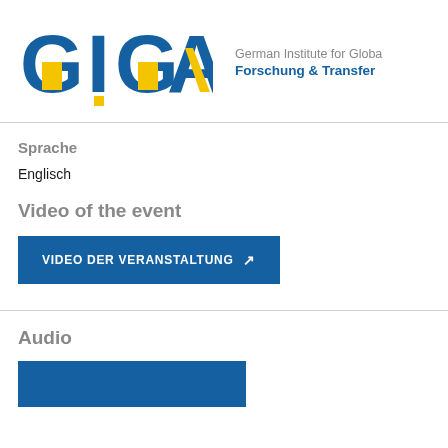[Figure (logo): GIGA logo with blue and yellow letters, alongside text 'German Institute for Globa' and 'Forschung & Transfer']
Sprache
Englisch
Video of the event
VIDEO DER VERANSTALTUNG ↗
Audio